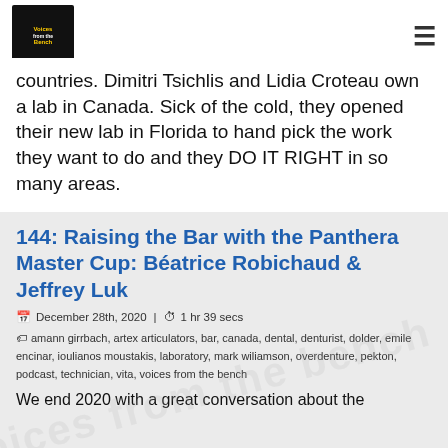Voices from the Bench
countries. Dimitri Tsichlis and Lidia Croteau own a lab in Canada. Sick of the cold, they opened their new lab in Florida to hand pick the work they want to do and they DO IT RIGHT in so many areas.
144: Raising the Bar with the Panthera Master Cup: Béatrice Robichaud & Jeffrey Luk
December 28th, 2020 | 1 hr 39 secs
amann girrbach, artex articulators, bar, canada, dental, denturist, dolder, emile encinar, ioulianos moustakis, laboratory, mark williamson, overdenture, pekton, podcast, technician, vita, voices from the bench
We end 2020 with a great conversation about the